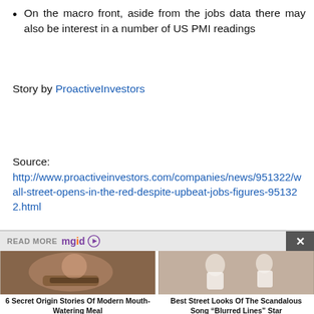On the macro front, aside from the jobs data there may also be interest in a number of US PMI readings
Story by ProactiveInvestors
Source:
http://www.proactiveinvestors.com/companies/news/951322/wall-street-opens-in-the-red-despite-upbeat-jobs-figures-951322.html
[Figure (photo): READ MORE mgid widget with close button, two article thumbnails below: left photo of woman eating burger, right photo of women in white dresses on street]
6 Secret Origin Stories Of Modern Mouth-Watering Meal
Best Street Looks Of The Scandalous Song “Blurred Lines” Star